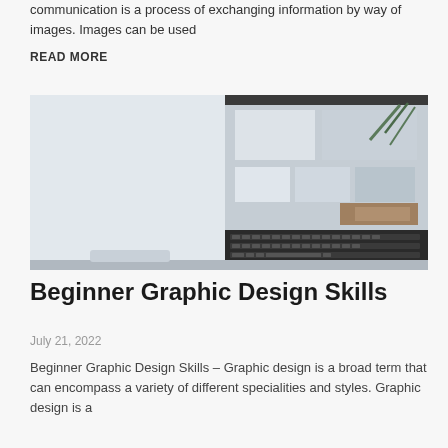communication is a process of exchanging information by way of images. Images can be used
READ MORE
[Figure (photo): Laptop computer displaying a design/portfolio website with image grid layout, plant decoration visible on screen, keyboard in foreground]
Beginner Graphic Design Skills
July 21, 2022
Beginner Graphic Design Skills – Graphic design is a broad term that can encompass a variety of different specialities and styles. Graphic design is a